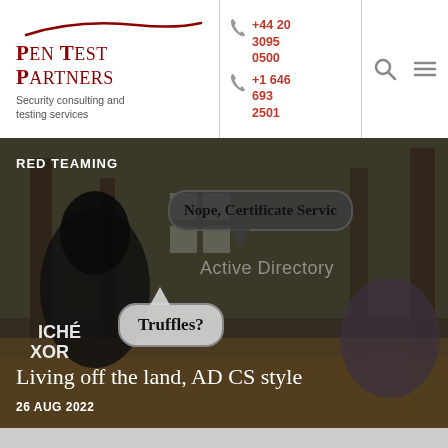[Figure (logo): Pen Test Partners logo with swoosh and tagline 'Security consulting and testing services']
+44 20 3095 0500
+1 646 693 2501
[Figure (other): Search and hamburger menu navigation icons]
[Figure (photo): Hero image showing forest scene with hooded figure and woman kneeling, overlaid with speech bubbles reading 'Nope, Certificate Servic...' and 'Truffles?', Windows Active Directory logo, RED TEAMING label, article title 'Living off the land, AD CS style' and date '26 AUG 2022']
Living off the land, AD CS style
26 AUG 2022